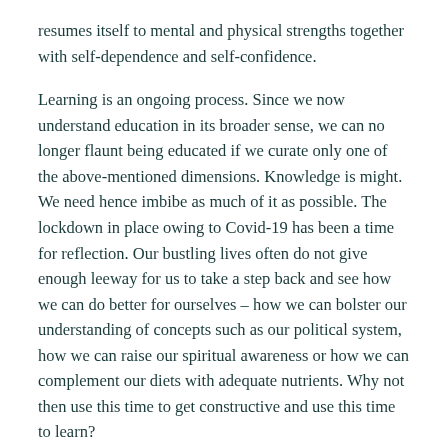resumes itself to mental and physical strengths together with self-dependence and self-confidence.
Learning is an ongoing process. Since we now understand education in its broader sense, we can no longer flaunt being educated if we curate only one of the above-mentioned dimensions. Knowledge is might. We need hence imbibe as much of it as possible. The lockdown in place owing to Covid-19 has been a time for reflection. Our bustling lives often do not give enough leeway for us to take a step back and see how we can do better for ourselves – how we can bolster our understanding of concepts such as our political system, how we can raise our spiritual awareness or how we can complement our diets with adequate nutrients. Why not then use this time to get constructive and use this time to learn?
We have time to learn what we previously did not have much time to allocate to. Learning a new language requires